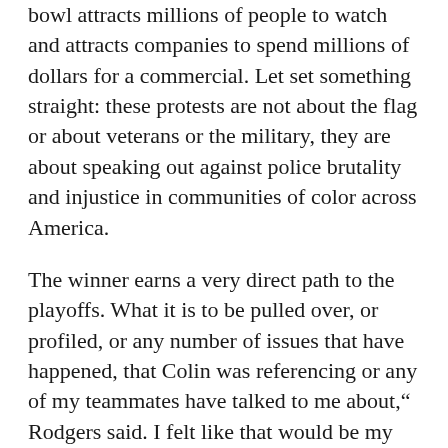bowl attracts millions of people to watch and attracts companies to spend millions of dollars for a commercial. Let set something straight: these protests are not about the flag or about veterans or the military, they are about speaking out against police brutality and injustice in communities of color across America.
The winner earns a very direct path to the playoffs. What it is to be pulled over, or profiled, or any number of issues that have happened, that Colin was referencing or any of my teammates have talked to me about," Rodgers said. I felt like that would be my role.".
Rushes the passer better than most kids plain football jerseys interior defensive linemen. Top SalariesThe highest 2009 to 2010 salary for a wide receiver was $16,251,300, earned by Greg Jennings of the Green Bay Packers, according to the USA Today list of 196 NFL wide receiver salaries.